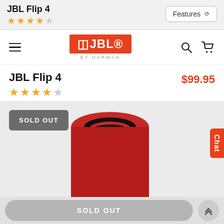JBL Flip 4 ★★★★☆ | Features ∨
[Figure (logo): JBL by Harman logo in navigation bar with hamburger menu, search and cart icons]
JBL Flip 4
$99.95
★★★★☆
[Figure (photo): Red JBL Flip 4 portable Bluetooth speaker viewed from above at slight angle on light grey background. A SOLD OUT badge appears in top left. A Chat tab appears on the right edge.]
SOLD OUT